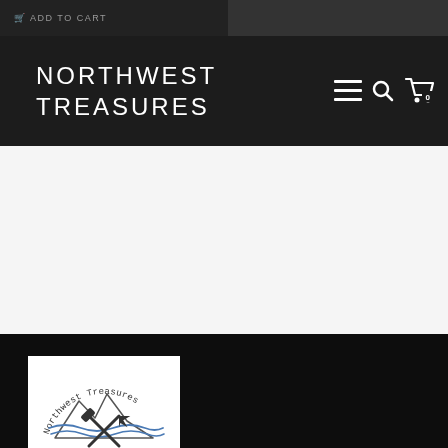NORTHWEST TREASURES
[Figure (logo): Northwest Treasures Geology logo: circular arc text reading 'Northwest Treasures', mountain silhouette with blue wavy lines, crossed pickaxe/hammer tools, text 'GEOLOGY' in blue, 'Est 2005' below]
ADD TO CART